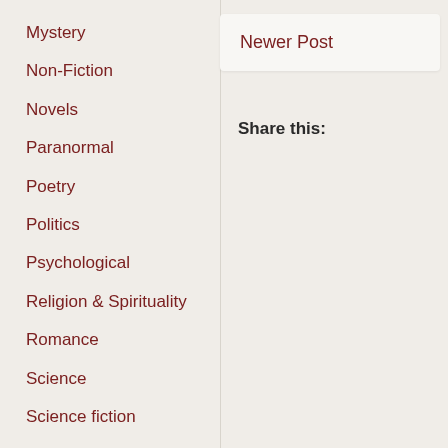Mystery
Non-Fiction
Novels
Paranormal
Poetry
Politics
Psychological
Religion & Spirituality
Romance
Science
Science fiction
Self help
Sports
Suspense
Newer Post
Share this: